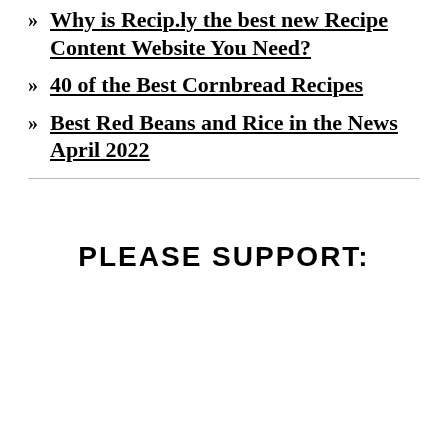» Why is Recip.ly the best new Recipe Content Website You Need?
» 40 of the Best Cornbread Recipes
» Best Red Beans and Rice in the News April 2022
PLEASE SUPPORT: